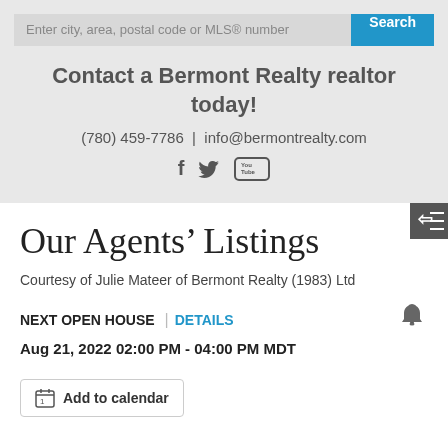[Figure (screenshot): Search input field with placeholder 'Enter city, area, postal code or MLS® number' and a blue Search button]
Contact a Bermont Realty realtor today!
(780) 459-7786 | info@bermontrealty.com
[Figure (illustration): Social media icons: Facebook (f), Twitter (bird), YouTube (You Tube box)]
Our Agents' Listings
Courtesy of Julie Mateer of Bermont Realty (1983) Ltd
NEXT OPEN HOUSE | DETAILS
Aug 21, 2022 02:00 PM - 04:00 PM MDT
Add to calendar